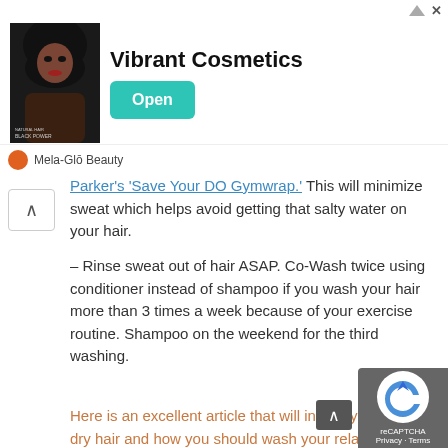[Figure (other): Advertisement banner for Vibrant Cosmetics / Mela-Glō Beauty with photo of woman, Open button, and attribution line]
Parker's 'Save Your DO Gymwrap.' This will minimize sweat which helps avoid getting that salty water on your hair.
– Rinse sweat out of hair ASAP. Co-Wash twice using conditioner instead of shampoo if you wash your hair more than 3 times a week because of your exercise routine. Shampoo on the weekend for the third washing.
Here is an excellent article that will inform you about dry hair and how you should wash your relaxed hair or natural hair.